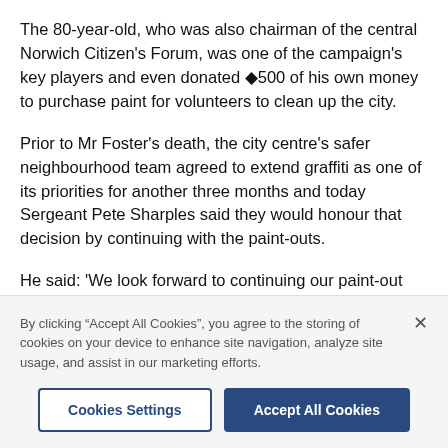The 80-year-old, who was also chairman of the central Norwich Citizen's Forum, was one of the campaign's key players and even donated ◆500 of his own money to purchase paint for volunteers to clean up the city.
Prior to Mr Foster's death, the city centre's safer neighbourhood team agreed to extend graffiti as one of its priorities for another three months and today Sergeant Pete Sharples said they would honour that decision by continuing with the paint-outs.
He said: 'We look forward to continuing our paint-out campaign into the New Year, encompassing the whole
By clicking "Accept All Cookies", you agree to the storing of cookies on your device to enhance site navigation, analyze site usage, and assist in our marketing efforts.
Cookies Settings
Accept All Cookies